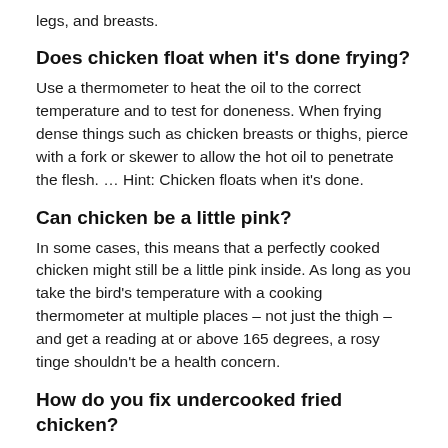legs, and breasts.
Does chicken float when it's done frying?
Use a thermometer to heat the oil to the correct temperature and to test for doneness. When frying dense things such as chicken breasts or thighs, pierce with a fork or skewer to allow the hot oil to penetrate the flesh. … Hint: Chicken floats when it's done.
Can chicken be a little pink?
In some cases, this means that a perfectly cooked chicken might still be a little pink inside. As long as you take the bird's temperature with a cooking thermometer at multiple places – not just the thigh – and get a reading at or above 165 degrees, a rosy tinge shouldn't be a health concern.
How do you fix undercooked fried chicken?
There is a way to recook your food without overcooking it. If it's only slightly undercooked, turn the heat back on, even if